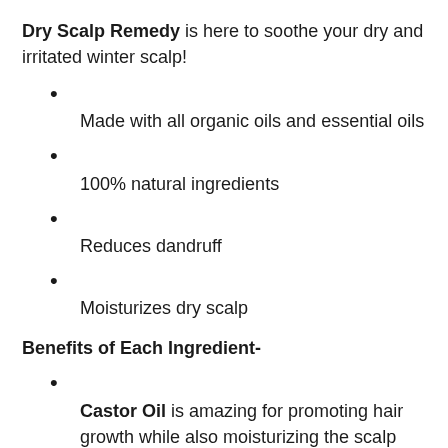Dry Scalp Remedy is here to soothe your dry and irritated winter scalp!
Made with all organic oils and essential oils
100% natural ingredients
Reduces dandruff
Moisturizes dry scalp
Benefits of Each Ingredient-
Castor Oil is amazing for promoting hair growth while also moisturizing the scalp and helping to decrease dandruff.
Jojoba Oil contains vitamins B, C & E which can help